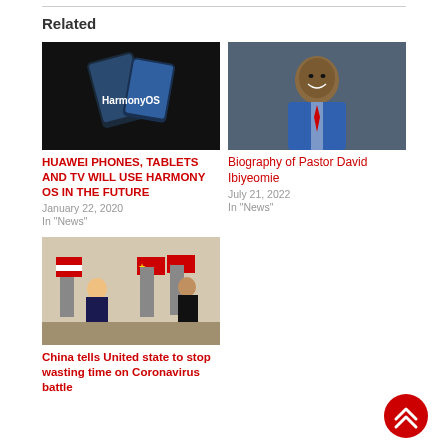Related
[Figure (photo): HarmonyOS logo on a dark device]
HUAWEI PHONES, TABLETS AND TV WILL USE HARMONY OS IN THE FUTURE
January 22, 2020
In "News"
[Figure (photo): Portrait photo of Pastor David Ibiyeomie smiling in a suit]
Biography of Pastor David Ibiyeomie
July 21, 2022
In "News"
[Figure (photo): Photo of Trump and Xi Jinping with US and China flags]
China tells United state to stop wasting time on Coronavirus battle